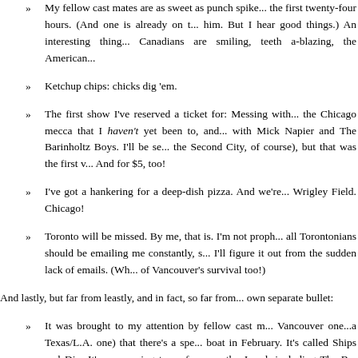My fellow cast mates are as sweet as punch spiked... the first twenty-four hours. (And one is already on t... him. But I hear good things.) An interesting thing... Canadians are smiling, teeth a-blazing, the American...
Ketchup chips: chicks dig 'em.
The first show I've reserved a ticket for: Messing with... the Chicago mecca that I haven't yet been to, and... with Mick Napier and The Barinholtz Boys. I'll be se... the Second City, of course), but that was the first v... And for $5, too!
I've got a hankering for a deep-dish pizza. And we're... Wrigley Field. Chicago!
Toronto will be missed. By me, that is. I'm not proph... all Torontonians should be emailing me constantly, s... I'll figure it out from the sudden lack of emails. (Wh... of Vancouver's survival too!)
And lastly, but far from leastly, and in fact, so far from... own separate bullet:
It was brought to my attention by fellow cast m... Vancouver one...a Texas/L.A. one) that there's a spe... boat in February. It's called Ships and Dip. It's a... coming to perform on the Jewel, including The B... and...wait for it...Kevin McDonald and Dave F... improvise with us. And then become my second na...